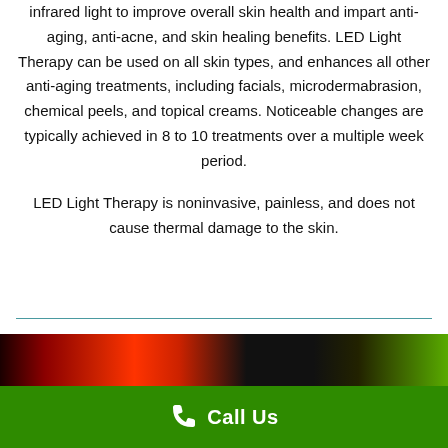infrared light to improve overall skin health and impart anti-aging, anti-acne, and skin healing benefits. LED Light Therapy can be used on all skin types, and enhances all other anti-aging treatments, including facials, microdermabrasion, chemical peels, and topical creams. Noticeable changes are typically achieved in 8 to 10 treatments over a multiple week period.
LED Light Therapy is noninvasive, painless, and does not cause thermal damage to the skin.
[Figure (photo): Partial view of LED light therapy device or treatment image showing red and green lights against dark background]
Call Us